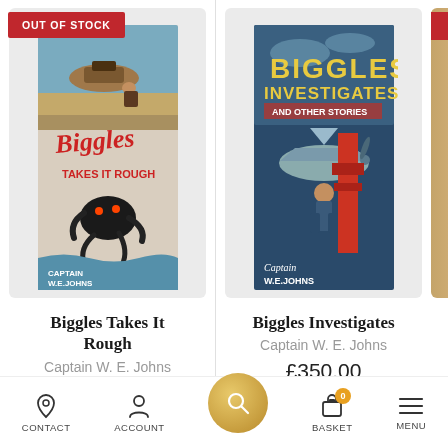[Figure (photo): Book cover of 'Biggles Takes It Rough' by Captain W.E. Johns, with an 'OUT OF STOCK' red banner overlay. Vintage illustrated cover.]
Biggles Takes It Rough
Captain W. E. Johns
£125.00
[Figure (photo): Book cover of 'Biggles Investigates' by Captain W.E. Johns. Blue cover with yellow title text.]
Biggles Investigates
Captain W. E. Johns
£350.00
CONTACT   ACCOUNT   [search]   BASKET   MENU